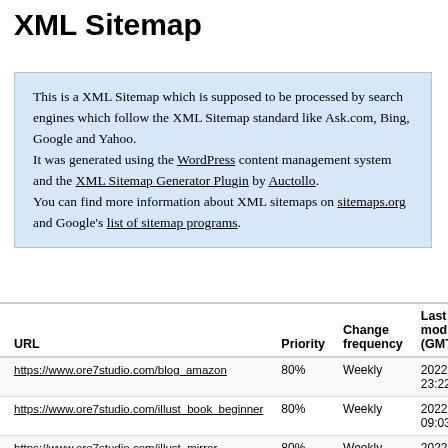XML Sitemap
This is a XML Sitemap which is supposed to be processed by search engines which follow the XML Sitemap standard like Ask.com, Bing, Google and Yahoo.
It was generated using the WordPress content management system and the XML Sitemap Generator Plugin by Auctollo.
You can find more information about XML sitemaps on sitemaps.org and Google's list of sitemap programs.
| URL | Priority | Change frequency | Last modified (GMT) |
| --- | --- | --- | --- |
| https://www.ore7studio.com/blog_amazon | 80% | Weekly | 2022-0… 23:22 |
| https://www.ore7studio.com/illust_book_beginner | 80% | Weekly | 2022-0… 09:03 |
| https://www.ore7studio.com/illust_mirror | 80% | Weekly | 2022-0… 01:09 |
| https://www.ore7studio.com/illust_line_thickness | 80% | Weekly | 2022-0… 00:07 |
| https://www.ore7studio.com/illust_designdoll | 80% | Weekly | 2022-0… 03:38 |
| https://www.ore7studio.com/illust_capsule_toy2 | 80% | Weekly | 2022-0… 03:49 |
| https://www.ore7studio.com/illust_hand | 80% | Weekly | 2022-0… |